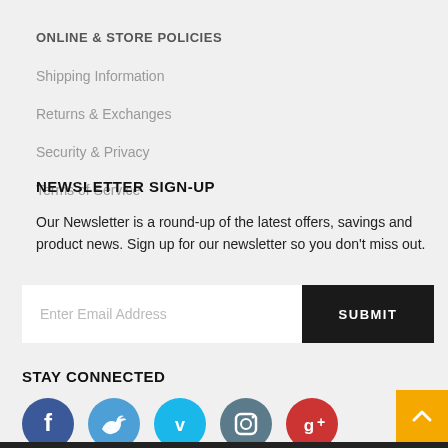ONLINE & STORE POLICIES
Shipping Information
Returns & Exchanges
Security & Privacy
Terms of Service
NEWSLETTER SIGN-UP
Our Newsletter is a round-up of the latest offers, savings and product news. Sign up for our newsletter so you don't miss out.
Enter Email Address [SUBMIT button]
STAY CONNECTED
[Figure (infographic): Five social media icon circles: Facebook (dark blue), Twitter (medium blue), Vimeo (cyan/blue), Instagram (steel blue), Google+ (red)]